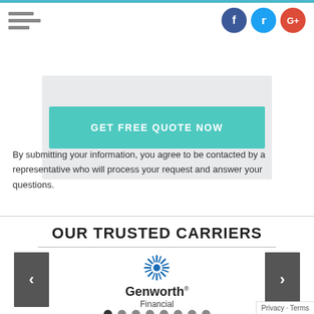[Figure (screenshot): Navigation bar with hamburger menu icon on left and social media icons (Facebook, Twitter, Google+) on right, with teal top border]
[Figure (screenshot): Light gray form area with a teal 'GET FREE QUOTE NOW' button]
By submitting your information, you agree to be contacted by a representative who will process your request and answer your questions.
OUR TRUSTED CARRIERS
[Figure (logo): Genworth Financial logo with blue starburst icon above text reading 'Genworth Financial']
[Figure (screenshot): Carousel navigation with left and right arrow buttons and pagination dots at the bottom]